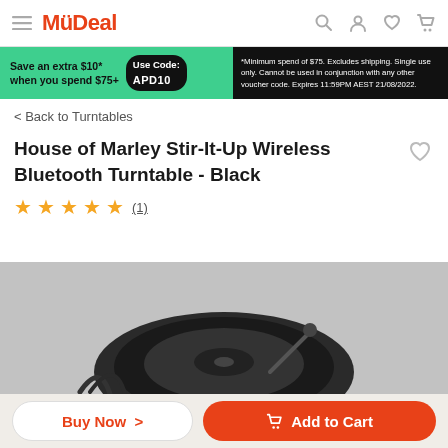MyDeal
[Figure (infographic): Promotional banner: Save an extra $10* when you spend $75+ Use Code: APD10. *Minimum spend of $75. Excludes shipping. Single use only. Cannot be used in conjunction with any other voucher code. Expires 11:59PM AEST 21/08/2022.]
< Back to Turntables
House of Marley Stir-It-Up Wireless Bluetooth Turntable - Black
★★★★★ (1)
[Figure (photo): Partial product image of turntable at bottom of page]
Buy Now >   Add to Cart